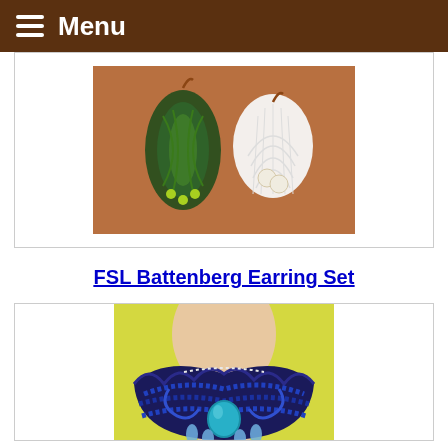Menu
[Figure (photo): Two pairs of decorative earrings on a wooden surface: one pair with green leaf/feather design and another white lace-style pair with pearl accents]
FSL Battenberg Earring Set
[Figure (photo): A woman wearing an ornate dark blue beaded lace necklace with a large turquoise stone centerpiece and blue crystal drop pendants]